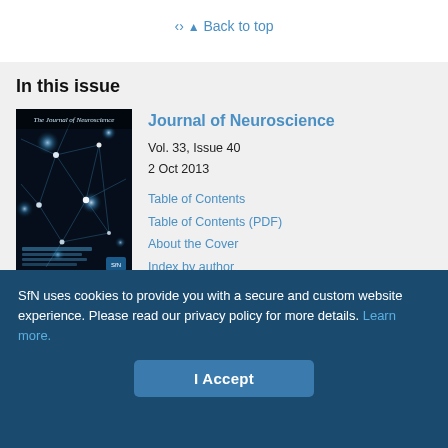Back to top
In this issue
[Figure (photo): Cover of The Journal of Neuroscience showing glowing neuron cells on dark background]
Journal of Neuroscience
Vol. 33, Issue 40
2 Oct 2013
Table of Contents
Table of Contents (PDF)
About the Cover
Index by author
Advertising (PDF)
Ed Board (PDF)
SfN uses cookies to provide you with a secure and custom website experience. Please read our privacy policy for more details. Learn more.
I Accept